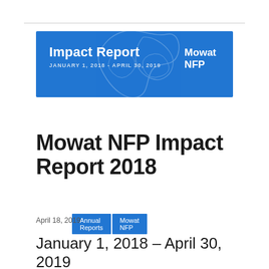[Figure (illustration): Blue banner with 'Impact Report' title, subtitle 'JANUARY 1, 2018 - APRIL 30, 2019', decorative map outline, and 'Mowat NFP' logo on the right]
Annual Reports
Mowat NFP
Mowat NFP Impact Report 2018
April 18, 2019
January 1, 2018 – April 30, 2019